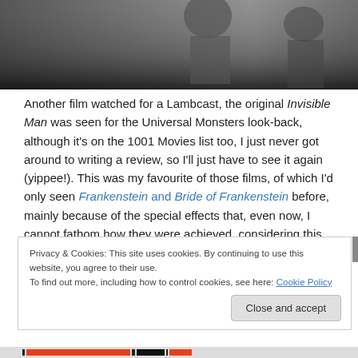[Figure (photo): Black and white photograph, cropped at the top of the page, showing partial figures in a dark scene.]
Another film watched for a Lambcast, the original Invisible Man was seen for the Universal Monsters look-back, although it's on the 1001 Movies list too, I just never got around to writing a review, so I'll just have to see it again (yippee!). This was my favourite of those films, of which I'd only seen Frankenstein and Bride of Frankenstein before, mainly because of the special effects that, even now, I cannot fathom how they were achieved, considering this
Privacy & Cookies: This site uses cookies. By continuing to use this website, you agree to their use.
To find out more, including how to control cookies, see here: Cookie Policy
Close and accept